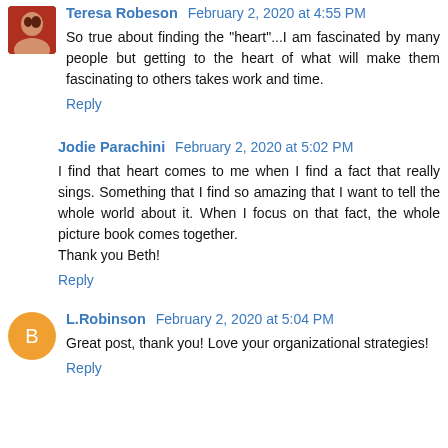Teresa Robeson February 2, 2020 at 4:55 PM
So true about finding the "heart"...I am fascinated by many people but getting to the heart of what will make them fascinating to others takes work and time.
Reply
Jodie Parachini February 2, 2020 at 5:02 PM
I find that heart comes to me when I find a fact that really sings. Something that I find so amazing that I want to tell the whole world about it. When I focus on that fact, the whole picture book comes together.
Thank you Beth!
Reply
L.Robinson February 2, 2020 at 5:04 PM
Great post, thank you! Love your organizational strategies!
Reply